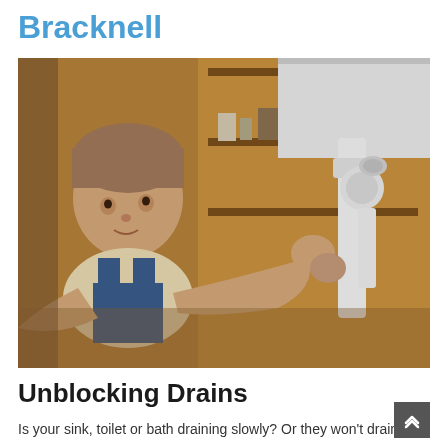Bracknell
[Figure (photo): A plumber in blue overalls lying under a sink, inspecting and working on white PVC drain pipes and fittings with shelving visible in the background.]
Unblocking Drains
Is your sink, toilet or bath draining slowly? Or they won't drain